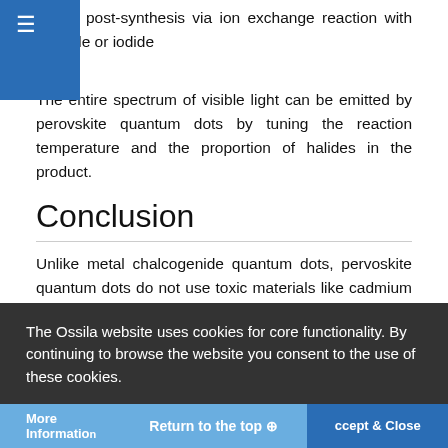post-synthesis via ion exchange reaction with chloride or iodide s.
The entire spectrum of visible light can be emitted by perovskite quantum dots by tuning the reaction temperature and the proportion of halides in the product.
Conclusion
Unlike metal chalcogenide quantum dots, pervoskite quantum dots do not use toxic materials like cadmium metal and do not require surface passivation. They are therefore considerably less prone to defects. The available synthetic processes of perovskite quantum dots mean that they can be reliably mass-produced with photoluminescent yields of up to 100%.
We synthesize our new range of pervoskite quantum dots using the
The Ossila website uses cookies for core functionality. By continuing to browse the website you consent to the use of these cookies.
More Information   Return to the top ⊕   Accept & Close